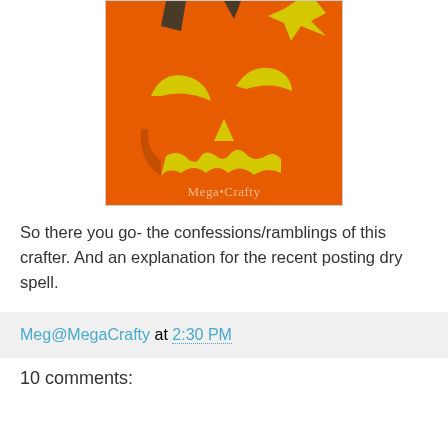[Figure (photo): Close-up photo of an orange jack-o-lantern craft with yellow cutout eyes, nose, and mouth on orange paper background, with a dark stem visible at top. Watermark reads 'Mega•Crafty' in bottom right.]
So there you go- the confessions/ramblings of this crafter. And an explanation for the recent posting dry spell.
Meg@MegaCrafty at 2:30 PM
10 comments: